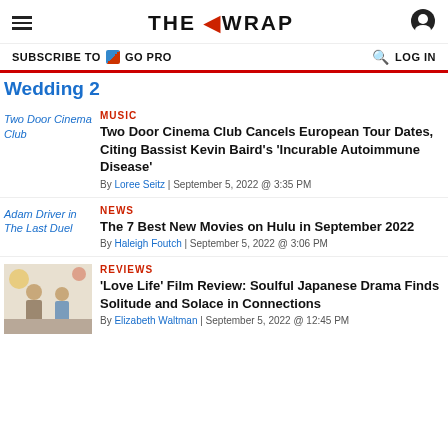THE WRAP
SUBSCRIBE TO GO PRO   LOG IN
Wedding 2
MUSIC
Two Door Cinema Club Cancels European Tour Dates, Citing Bassist Kevin Baird's 'Incurable Autoimmune Disease'
By Loree Seitz | September 5, 2022 @ 3:35 PM
NEWS
The 7 Best New Movies on Hulu in September 2022
By Haleigh Foutch | September 5, 2022 @ 3:06 PM
REVIEWS
'Love Life' Film Review: Soulful Japanese Drama Finds Solitude and Solace in Connections
By Elizabeth Waltman | September 5, 2022 @ 12:45 PM